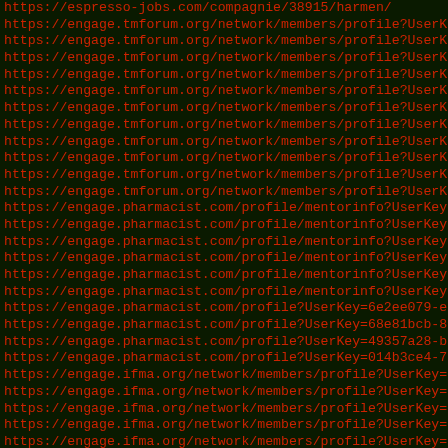List of URLs including espresso-jobs.com, engage.tmforum.org, engage.pharmacist.com, and engage.ifma.org profile/member URLs with truncated query parameters (UserKey values)